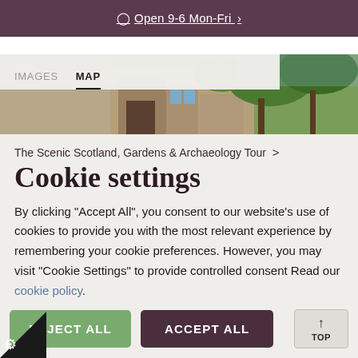Open 9-6 Mon-Fri
[Figure (screenshot): Navigation tabs (IMAGES, MAP) with a nature/garden photo on the right showing stone archway and green trees]
The Scenic Scotland, Gardens & Archaeology Tour >
Cookie settings
By clicking "Accept All", you consent to our website's use of cookies to provide you with the most relevant experience by remembering your cookie preferences. However, you may visit "Cookie Settings" to provide controlled consent Read our cookie policy.
Cookie settings
REJECT ALL   ACCEPT ALL